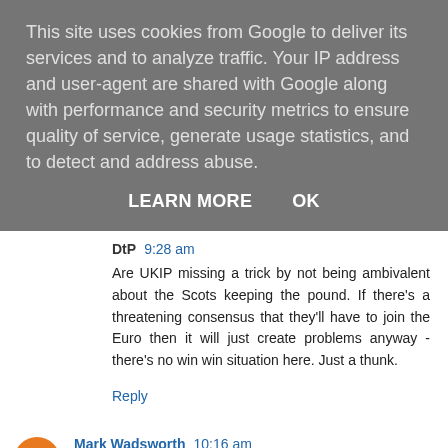This site uses cookies from Google to deliver its services and to analyze traffic. Your IP address and user-agent are shared with Google along with performance and security metrics to ensure quality of service, generate usage statistics, and to detect and address abuse.
LEARN MORE   OK
DtP  9:28 am
Are UKIP missing a trick by not being ambivalent about the Scots keeping the pound. If there's a threatening consensus that they'll have to join the Euro then it will just create problems anyway - there's no win win situation here. Just a thunk.
Reply
Mark Wadsworth  10:16 am
DtP, I gave up on UKIP years ago, I'm not sure what their policy on Scotland is, or whether they ever had one.